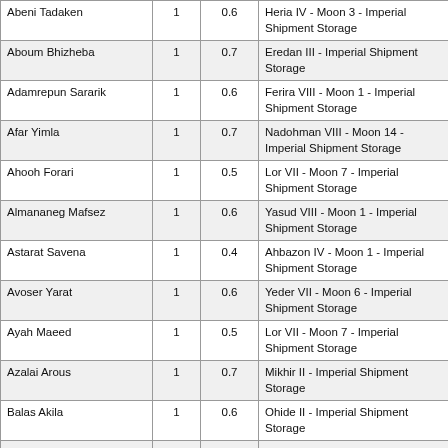| Abeni Tadaken | 1 | 0.6 | Heria IV - Moon 3 - Imperial Shipment Storage |
| Aboum Bhizheba | 1 | 0.7 | Eredan III - Imperial Shipment Storage |
| Adamrepun Sararik | 1 | 0.6 | Ferira VIII - Moon 1 - Imperial Shipment Storage |
| Afar Yimla | 1 | 0.7 | Nadohman VIII - Moon 14 - Imperial Shipment Storage |
| Ahooh Forari | 1 | 0.5 | Lor VII - Moon 7 - Imperial Shipment Storage |
| Almananeg Mafsez | 1 | 0.6 | Yasud VIII - Moon 1 - Imperial Shipment Storage |
| Astarat Savena | 1 | 0.4 | Ahbazon IV - Moon 1 - Imperial Shipment Storage |
| Avoser Yarat | 1 | 0.6 | Yeder VII - Moon 6 - Imperial Shipment Storage |
| Ayah Maeed | 1 | 0.5 | Lor VII - Moon 7 - Imperial Shipment Storage |
| Azalai Arous | 1 | 0.7 | Mikhir II - Imperial Shipment Storage |
| Balas Akila | 1 | 0.6 | Ohide II - Imperial Shipment Storage |
| Dians Erkoun | 1 | 0.6 | Azerakish XII - Moon 3 - Imperial Shipment Storage |
| Doora Zifsork | 1 | 0.6 | Hahda IX - Imperial Shipment Storage |
| Efshan Usra | 1 | 0.3 | Chamume VII - Moon 14 - Imperial Shipment Storage |
| Ehtina Yanutchert | 1 | 0.4 | Roushzar VII - Moon 12 - Imperial Shipment Storage |
| Fehnabre Ithara | 1 | 0.6 | Gheth IX - Moon 2 - Imperial Shipment Storage |
| Fesht Rardera | 1 | 0.4 | Ahbazon IX - Moon 15 - Imperial Shipment Storage |
| Giama Esion | 1 | 0.4 | Halmah II - Moon 12 - Imperial Shipment |